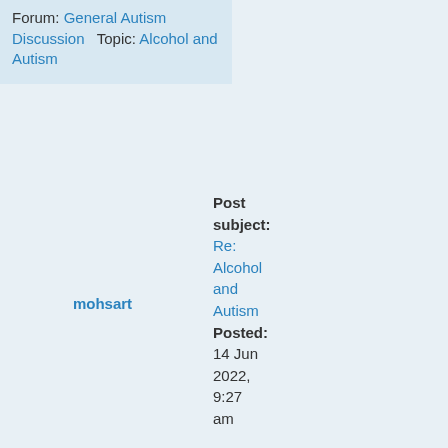Forum: General Autism Discussion   Topic: Alcohol and Autism
mohsart
Post subject: Re: Alcohol and Autism
Posted: 14 Jun 2022, 9:27 am
Replies: 51
Views: 2,038
^ Is that something you know or are speculating about? It sounds a